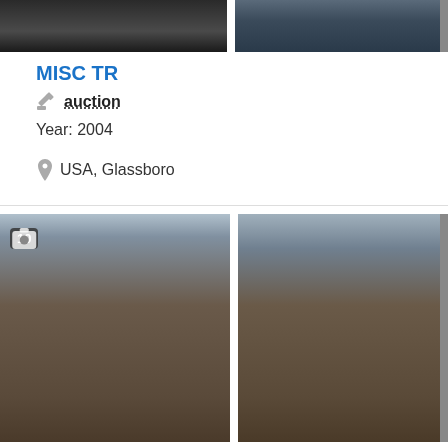[Figure (photo): Partial view of vehicle/trailer images at top of page (cropped)]
MISC TR
auction
Year: 2004
USA, Glassboro
[Figure (photo): Two photos of Boydstun Metal Works Carhauler trailer on dirt lot, overcast sky. Left photo shows badge '10' with camera icon.]
BOYDSTUN METAL WORKS CARHAULER
auction